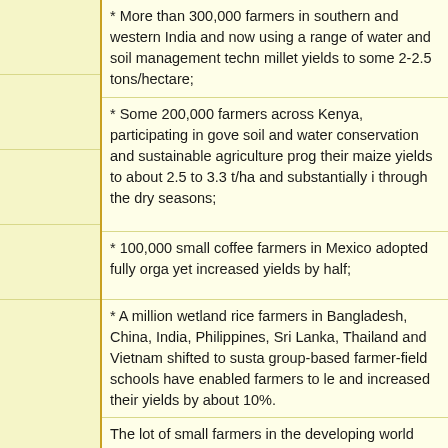* More than 300,000 farmers in southern and western India and now using a range of water and soil management techniques to raise millet yields to some 2-2.5 tons/hectare;
* Some 200,000 farmers across Kenya, participating in government soil and water conservation and sustainable agriculture programmes, raised their maize yields to about 2.5 to 3.3 t/ha and substantially improved food security through the dry seasons;
* 100,000 small coffee farmers in Mexico adopted fully organic methods yet increased yields by half;
* A million wetland rice farmers in Bangladesh, China, India, Philippines, Sri Lanka, Thailand and Vietnam shifted to sustainable practices; group-based farmer-field schools have enabled farmers to learn from each other and increased their yields by about 10%.
The lot of small farmers in the developing world can also be improved by practical measures for example, through facilitating access to finance (microcredit, grants) or through increasing investment in rural infrastructure, transport, and storage facilities. In contrast, when it comes to food security, GM technology is failing to deliver. As Defra chief scientist B unambiguously stated, "The absence of GM crops is not the